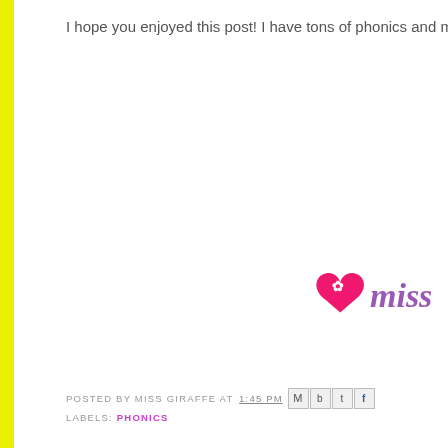I hope you enjoyed this post! I have tons of phonics and ma
[Figure (logo): Miss Giraffe blog logo with pink heart and purple cursive text 'miss']
POSTED BY MISS GIRAFFE AT 1:45 PM [share icons]
LABELS: PHONICS
[Figure (illustration): Decorative row of colorful dots in pink, yellow, purple, teal, green, red, yellow repeating pattern]
0 COMMENTS:
POST A COMMENT